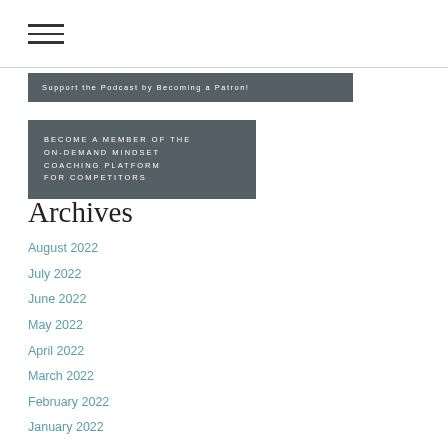[Figure (other): Hamburger menu icon (three horizontal lines)]
Support the Podcast by Becoming a Patron!
BECOME A MEMBER OF THE ON-DEMAND MINDSET COACHING PLATFORM FOR COMPETITORS
Archives
August 2022
July 2022
June 2022
May 2022
April 2022
March 2022
February 2022
January 2022
December 2021
November 2021